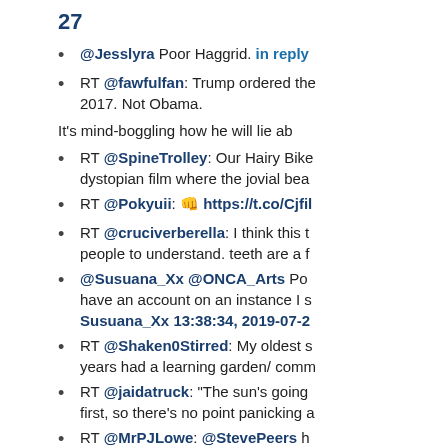27
@Jesslyra Poor Haggrid. in reply
RT @fawfulfan: Trump ordered the 2017. Not Obama.
It's mind-boggling how he will lie ab
RT @SpineTrolley: Our Hairy Bike dystopian film where the jovial bea
RT @Pokyuii: 👊 https://t.co/Cjfil
RT @cruciverberella: I think this t people to understand. teeth are a f
@Susuana_Xx @ONCA_Arts Po have an account on an instance I s Susuana_Xx 13:38:34, 2019-07-2
RT @Shaken0Stirred: My oldest s years had a learning garden/ comm
RT @jaidatruck: "The sun's going first, so there's no point panicking a
RT @MrPJLowe: @StevePeers h
RT @FlameLesbian: Just barely n Kickstarter, everyone! Please chec
RT @cjwerleman: Yesterday, pro-